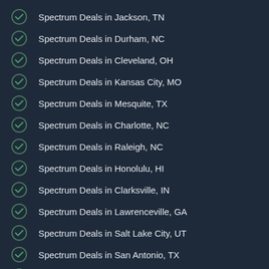Spectrum Deals in Jackson, TN
Spectrum Deals in Durham, NC
Spectrum Deals in Cleveland, OH
Spectrum Deals in Kansas City, MO
Spectrum Deals in Mesquite, TX
Spectrum Deals in Charlotte, NC
Spectrum Deals in Raleigh, NC
Spectrum Deals in Honolulu, HI
Spectrum Deals in Clarksville, IN
Spectrum Deals in Lawrenceville, GA
Spectrum Deals in Salt Lake City, UT
Spectrum Deals in San Antonio, TX
Spectrum Deals in Fort Worth, TX
Spectrum Deals in El Paso, TX
Spectrum Deals in Arlington, TX